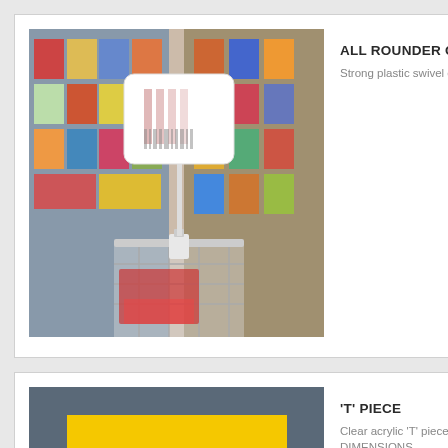[Figure (photo): Photo of a supermarket aisle showing a shopping trolley/cart with a white plastic sign holder on a clamp attached to the cart handle, displaying a barcode sign. Store shelves with products visible in background.]
ALL ROUNDER CLAM
Strong plastic swivel clam
[Figure (photo): Photo of a yellow rectangular acrylic sheet against a dark grey/blue background, representing the T piece product.]
'T' PIECE
Clear acrylic 'T' piece to h AP76AA4) DIMENSIONS